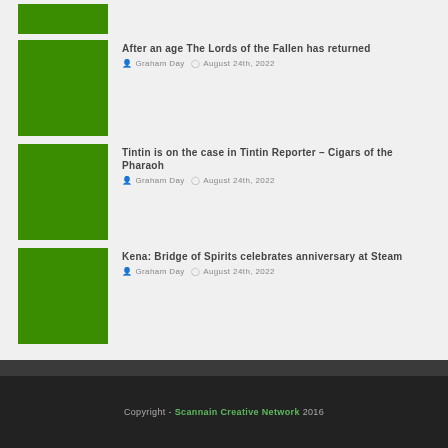[Figure (photo): Green thumbnail image (partial, top cropped)]
After an age The Lords of the Fallen has returned
Graham Day  August 24th, 2022
[Figure (photo): Green thumbnail image]
Tintin is on the case in Tintin Reporter – Cigars of the Pharaoh
Graham Day  August 24th, 2022
[Figure (photo): Green thumbnail image]
Kena: Bridge of Spirits celebrates anniversary at Steam
Graham Day  August 24th, 2022
Copyright - Scannain Creative Network 2016